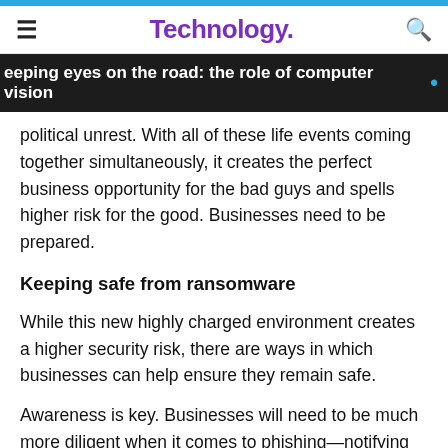Technology.
eeping eyes on the road: the role of computer vision
political unrest. With all of these life events coming together simultaneously, it creates the perfect business opportunity for the bad guys and spells higher risk for the good. Businesses need to be prepared.
Keeping safe from ransomware
While this new highly charged environment creates a higher security risk, there are ways in which businesses can help ensure they remain safe.
Awareness is key. Businesses will need to be much more diligent when it comes to phishing—notifying teams will be important. Knowing that the level of threat is higher can help ensure that the crown jewels aren't compromised.